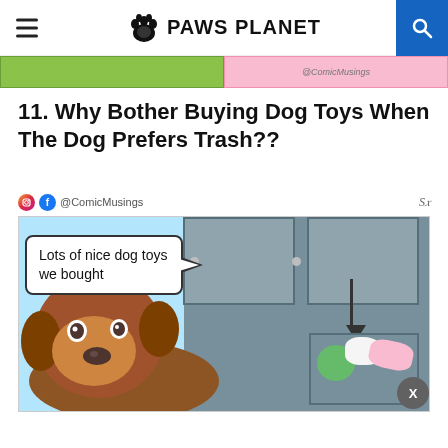PAWS PLANET
[Figure (illustration): Previous article strip with green and pink thumbnail panels showing @ComicMusings]
11. Why Bother Buying Dog Toys When The Dog Prefers Trash??
[Figure (illustration): Comic strip panel showing a dog looking at a box of dog toys with speech bubble reading 'Lots of nice dog toys we bought', attributed to @ComicMusings]